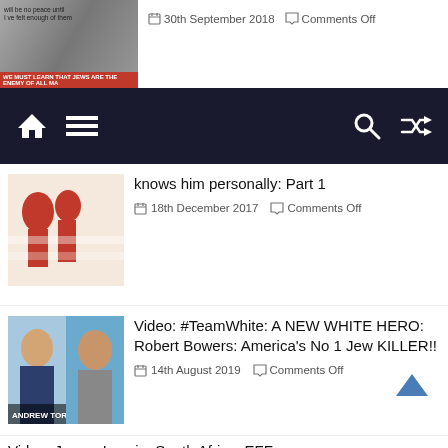[Figure (screenshot): Top article thumbnail with text overlay about Jews]
30th September 2018    Comments Off
[Figure (screenshot): Navigation bar with home, menu, search, and random icons on dark background]
[Figure (illustration): Red and white graphic with silhouetted figures]
knows him personally: Part 1
18th December 2017    Comments Off
[Figure (photo): Photo of two men: Andrew Torba and Robert Bowers]
Video: #TeamWhite: A NEW WHITE HERO: Robert Bowers: America's No 1 Jew KILLER!!
14th August 2019    Comments Off
16 Pics: 6 September 1966: 52 Years ago today Jewish Communist assassin stabbed Dr Hendrik Verwoerd to death in parliament!
26th October 2020    Comments Off
Video: James Lancia: South Africa: EFF